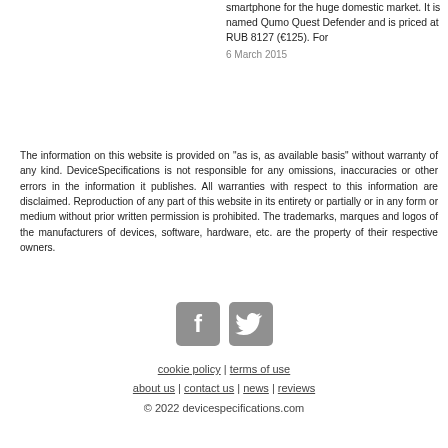smartphone for the huge domestic market. It is named Qumo Quest Defender and is priced at RUB 8127 (€125). For
6 March 2015
The information on this website is provided on "as is, as available basis" without warranty of any kind. DeviceSpecifications is not responsible for any omissions, inaccuracies or other errors in the information it publishes. All warranties with respect to this information are disclaimed. Reproduction of any part of this website in its entirety or partially or in any form or medium without prior written permission is prohibited. The trademarks, marques and logos of the manufacturers of devices, software, hardware, etc. are the property of their respective owners.
[Figure (logo): Facebook and Twitter social media icons in grey]
cookie policy | terms of use
about us | contact us | news | reviews
© 2022 devicespecifications.com